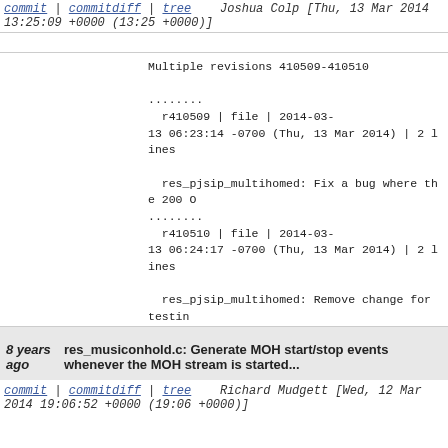commit | commitdiff | tree    Joshua Colp [Thu, 13 Mar 2014 13:25:09 +0000 (13:25 +0000)]
Multiple revisions 410509-410510

........
  r410509 | file | 2014-03-13 06:23:14 -0700 (Thu, 13 Mar 2014) | 2 lines

  res_pjsip_multihomed: Fix a bug where the 200 O
........
  r410510 | file | 2014-03-13 06:24:17 -0700 (Thu, 13 Mar 2014) | 2 lines

  res_pjsip_multihomed: Remove change for testin
........

Merged revisions 410509-410510 from http://svn.asterisk.org/svn/asterisk/br

git-svn-id: https://origsvn.digium.com/svn/asterisk/trunk@-6c06-0410-ace0-fbb531ad65f3
8 years ago    res_musiconhold.c: Generate MOH start/stop events whenever the MOH stream is started...
commit | commitdiff | tree    Richard Mudgett [Wed, 12 Mar 2014 19:06:52 +0000 (19:06 +0000)]